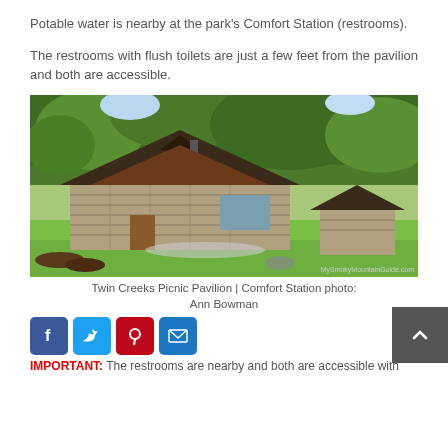Potable water is nearby at the park's Comfort Station (restrooms).
The restrooms with flush toilets are just a few feet from the pavilion and both are accessible.
[Figure (photo): Photo of Twin Creeks Picnic Pavilion and Comfort Station — a stone-walled building with dark wood gabled roof surrounded by green trees, with a smaller stone outbuilding to the right, green lawn in foreground. Watermark: MySmokyMountainGuide.com]
Twin Creeks Picnic Pavilion | Comfort Station photo: Ann Bowman
[Figure (other): Social sharing buttons: Facebook (blue), Twitter (blue), Pinterest (red), Email (blue)]
IMPORTANT: The restrooms are nearby and both are accessible with